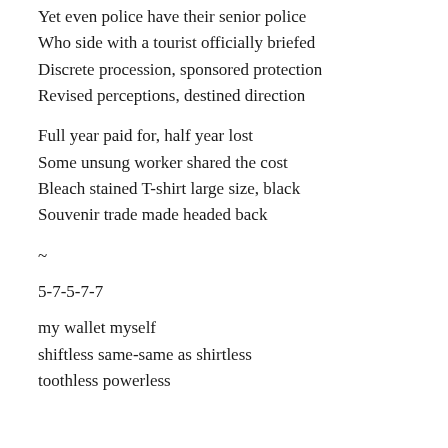Yet even police have their senior police
Who side with a tourist officially briefed
Discrete procession, sponsored protection
Revised perceptions, destined direction
Full year paid for, half year lost
Some unsung worker shared the cost
Bleach stained T-shirt large size, black
Souvenir trade made headed back
~
5-7-5-7-7
my wallet myself
shiftless same-same as shirtless
toothless powerless